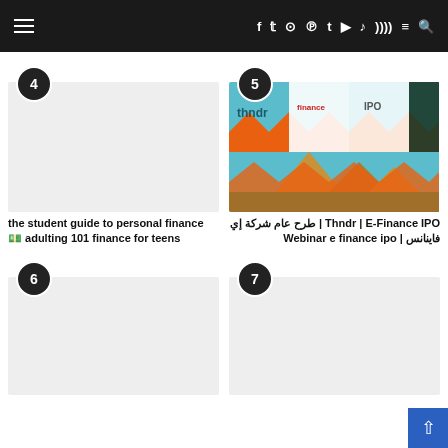Navigation bar with hamburger menu, social icons (f, t, instagram, pinterest, tumblr, youtube, soundcloud, rss), menu and search
[Figure (other): Article card 4 - blank/light gray placeholder image]
[Figure (photo): Article card 5 - Thndr E-Finance IPO image with pyramids, thndr logo, finance and IPO logos, orange zigzag pattern]
the student guide to personal finance 💵 adulting 101 finance for teens
Thndr | E-Finance IPO | طرح عام شركة إي فاينانس | Webinar e finance ipo
[Figure (other): Article card 6 - blank/light gray placeholder image]
[Figure (other): Article card 7 - blank/light gray placeholder image]